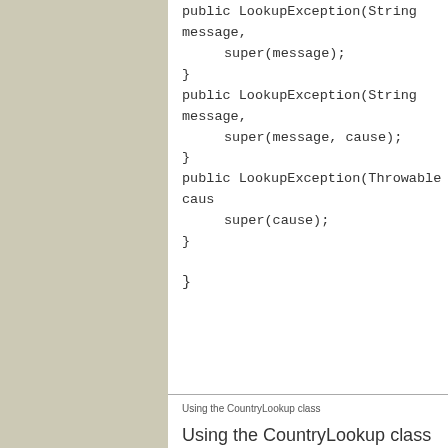public LookupException(String message,
    super(message);
}
public LookupException(String message,
    super(message, cause);
}
public LookupException(Throwable caus
    super(cause);
}
}
Using the CountryLookup class
Using the CountryLookup class in a user-de
// First, get a CountryLook
CountryLookup cl = new Coun